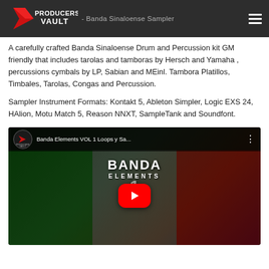Producers Vault — Banda Sinaloense Drum and Percussion Sampler
A carefully crafted Banda Sinaloense Drum and Percussion kit GM friendly that includes tarolas and tamboras by Hersch and Yamaha , percussions cymbals by LP, Sabian and MEinl. Tambora Platillos, Timbales, Tarolas, Congas and Percussion.
Sampler Instrument Formats: Kontakt 5, Ableton Simpler, Logic EXS 24, HAlion, Motu Match 5, Reason NNXT, SampleTank and Soundfont.
[Figure (screenshot): YouTube video thumbnail for 'Banda Elements VOL 1 Loops y Sa...' showing the Producers Vault channel icon, video title, Banda Elements 1 branding over a Mexican flag background with musical instruments, and a large red YouTube play button in the center.]